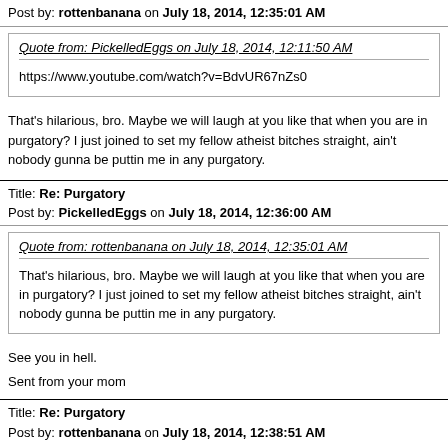Post by: rottenbanana on July 18, 2014, 12:35:01 AM
Quote from: PickelledEggs on July 18, 2014, 12:11:50 AM
https://www.youtube.com/watch?v=BdvUR67nZs0
That's hilarious, bro. Maybe we will laugh at you like that when you are in purgatory? I just joined to set my fellow atheist bitches straight, ain't nobody gunna be puttin me in any purgatory.
Title: Re: Purgatory
Post by: PickelledEggs on July 18, 2014, 12:36:00 AM
Quote from: rottenbanana on July 18, 2014, 12:35:01 AM
That's hilarious, bro. Maybe we will laugh at you like that when you are in purgatory? I just joined to set my fellow atheist bitches straight, ain't nobody gunna be puttin me in any purgatory.
See you in hell.
Sent from your mom
Title: Re: Purgatory
Post by: rottenbanana on July 18, 2014, 12:38:51 AM